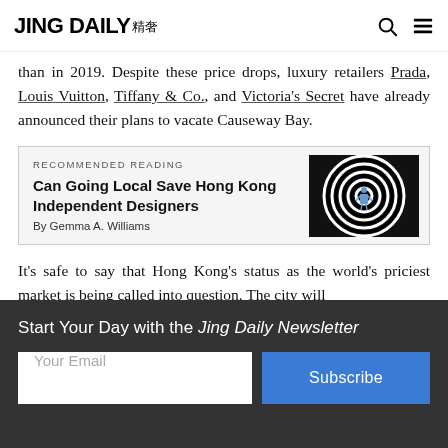JING DAILY 精奢
than in 2019. Despite these price drops, luxury retailers Prada, Louis Vuitton, Tiffany & Co., and Victoria's Secret have already announced their plans to vacate Causeway Bay.
[Figure (other): Recommended Reading box with article title 'Can Going Local Save Hong Kong Independent Designers' by Gemma A. Williams, with a spiral black-and-white image on the right]
It's safe to say that Hong Kong's status as the world's priciest market is being called into question. The city will
Start Your Day with the Jing Daily Newsletter
Your Email
Subscribe